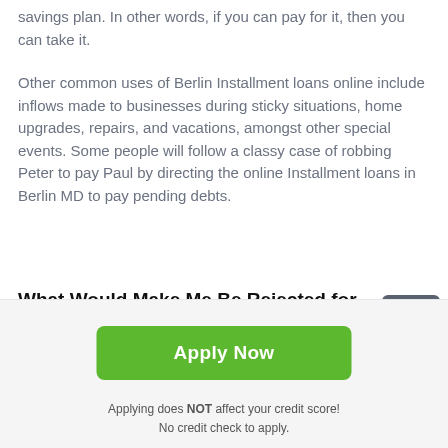savings plan. In other words, if you can pay for it, then you can take it.
Other common uses of Berlin Installment loans online include inflows made to businesses during sticky situations, home upgrades, repairs, and vacations, amongst other special events. Some people will follow a classy case of robbing Peter to pay Paul by directing the online Installment loans in Berlin MD to pay pending debts.
What Would Make Me Be Rejected for Easy Installment Loans Berlin in Maryland
Your employment status is the first thing that would
[Figure (other): Scroll-to-top button: dark grey square with upward arrow icon]
[Figure (other): Green 'Apply Now' button]
Applying does NOT affect your credit score!
No credit check to apply.